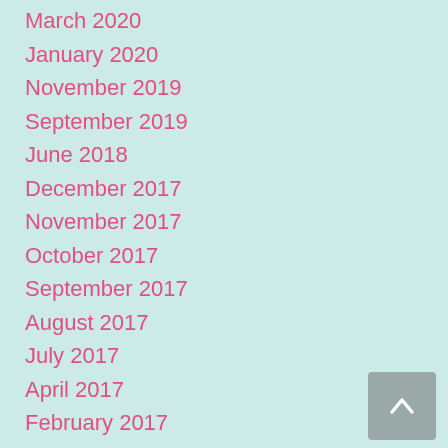March 2020
January 2020
November 2019
September 2019
June 2018
December 2017
November 2017
October 2017
September 2017
August 2017
July 2017
April 2017
February 2017
November 2016
September 2016
July 2016